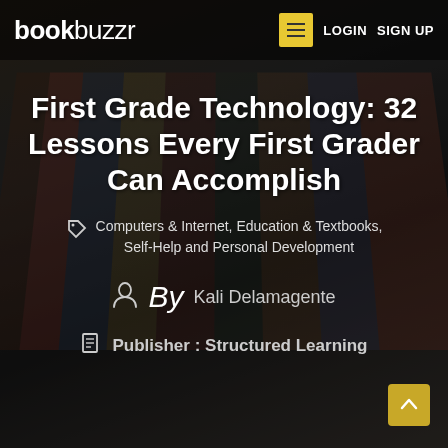bookbuzzr | LOGIN | SIGN UP
First Grade Technology: 32 Lessons Every First Grader Can Accomplish
Computers & Internet, Education & Textbooks, Self-Help and Personal Development
By Kali Delamagente
Publisher : Structured Learning